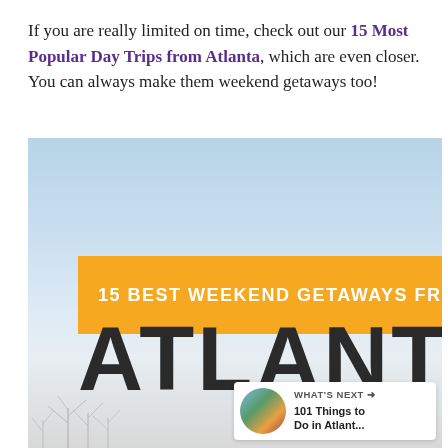If you are really limited on time, check out our 15 Most Popular Day Trips from Atlanta, which are even closer. You can always make them weekend getaways too!
[Figure (infographic): Infographic image with sky gradient background and text '15 BEST WEEKEND GETAWAYS FROM ATLANTA' in large bold letters on an orange banner, plus UI overlays including a heart/save button, share button, and 'What's Next' widget showing '101 Things to Do in Atlant...']